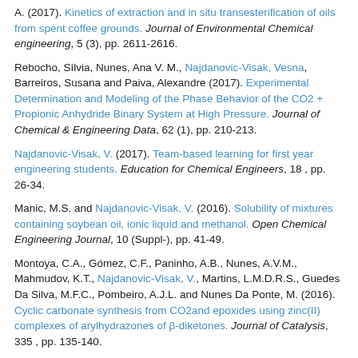A. (2017). Kinetics of extraction and in situ transesterification of oils from spent coffee grounds. Journal of Environmental Chemical engineering, 5 (3), pp. 2611-2616.
Rebocho, Sílvia, Nunes, Ana V. M., Najdanovic-Visak, Vesna, Barreiros, Susana and Paiva, Alexandre (2017). Experimental Determination and Modeling of the Phase Behavior of the CO2 + Propionic Anhydride Binary System at High Pressure. Journal of Chemical & Engineering Data, 62 (1), pp. 210-213.
Najdanovic-Visak, V. (2017). Team-based learning for first year engineering students. Education for Chemical Engineers, 18 , pp. 26-34.
Manic, M.S. and Najdanovic-Visak, V. (2016). Solubility of mixtures containing soybean oil, ionic liquid and methanol. Open Chemical Engineering Journal, 10 (Suppl-), pp. 41-49.
Montoya, C.A., Gómez, C.F., Paninho, A.B., Nunes, A.V.M., Mahmudov, K.T., Najdanovic-Visak, V., Martins, L.M.D.R.S., Guedes Da Silva, M.F.C., Pombeiro, A.J.L. and Nunes Da Ponte, M. (2016). Cyclic carbonate synthesis from CO2and epoxides using zinc(II) complexes of arylhydrazones of β-diketones. Journal of Catalysis, 335 , pp. 135-140.